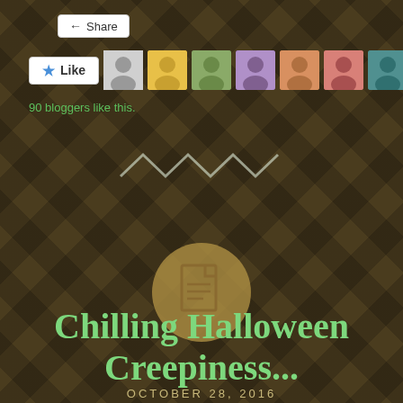[Figure (screenshot): Share button in top left corner]
[Figure (screenshot): Like button row with 90 bloggers avatars]
90 bloggers like this.
[Figure (illustration): Decorative zigzag / squiggle line divider in muted green/white tones]
[Figure (illustration): Document icon inside a tan/gold circle]
Chilling Halloween Creepiness...
OCTOBER 28, 2016